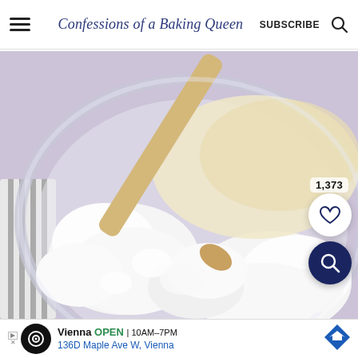Confessions of a Baking Queen | SUBSCRIBE
[Figure (photo): Overhead view of a glass mixing bowl with white flour and a wooden spoon, partially mixed batter on one side, striped cloth napkin on the left, on a light purple/lavender surface]
1,373
[Figure (other): Heart/save button (white circle with heart outline icon) and search button (dark navy circle with magnifying glass icon)]
Vienna  OPEN  10AM-7PM
136D Maple Ave W, Vienna